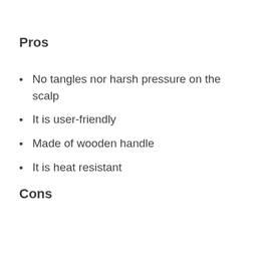Pros
No tangles nor harsh pressure on the scalp
It is user-friendly
Made of wooden handle
It is heat resistant
Cons